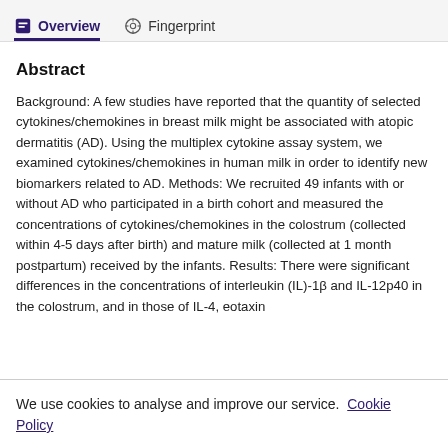Overview  Fingerprint
Abstract
Background: A few studies have reported that the quantity of selected cytokines/chemokines in breast milk might be associated with atopic dermatitis (AD). Using the multiplex cytokine assay system, we examined cytokines/chemokines in human milk in order to identify new biomarkers related to AD. Methods: We recruited 49 infants with or without AD who participated in a birth cohort and measured the concentrations of cytokines/chemokines in the colostrum (collected within 4-5 days after birth) and mature milk (collected at 1 month postpartum) received by the infants. Results: There were significant differences in the concentrations of interleukin (IL)-1β and IL-12p40 in the colostrum, and in those of IL-4, eotaxin
We use cookies to analyse and improve our service. Cookie Policy